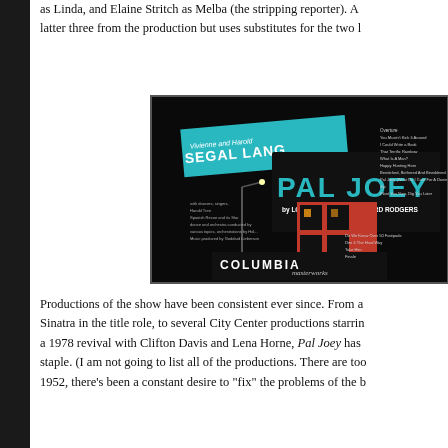as Linda, and Elaine Stritch as Melba (the stripping reporter). A latter three from the production but uses substitutes for the two l
[Figure (photo): Album cover for 'Pal Joey' Columbia Masterworks recording, featuring Vivienne Segal and Harold Lang. Black background with teal and red graphic design elements, text 'PAL JOEY by Lorenz Hart and Richard Rodgers', 'COLUMBIA Masterworks' branding.]
Productions of the show have been consistent ever since. From a Sinatra in the title role, to several City Center productions starrin a 1978 revival with Clifton Davis and Lena Horne, Pal Joey has staple. (I am not going to list all of the productions. There are too 1952, there's been a constant desire to "fix" the problems of the b